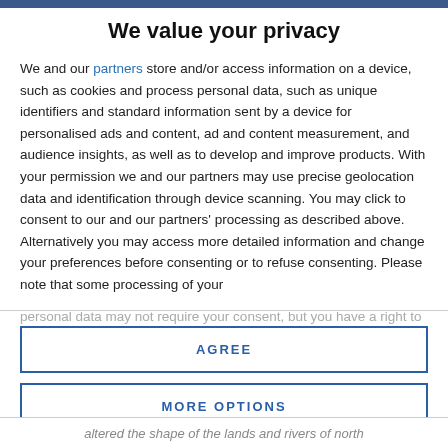We value your privacy
We and our partners store and/or access information on a device, such as cookies and process personal data, such as unique identifiers and standard information sent by a device for personalised ads and content, ad and content measurement, and audience insights, as well as to develop and improve products. With your permission we and our partners may use precise geolocation data and identification through device scanning. You may click to consent to our and our partners' processing as described above. Alternatively you may access more detailed information and change your preferences before consenting or to refuse consenting. Please note that some processing of your personal data may not require your consent, but you have a right to
AGREE
MORE OPTIONS
altered the shape of the lands and rivers of north